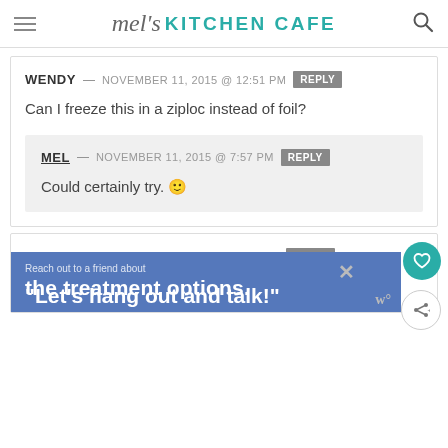mel's KITCHEN CAFE
WENDY — NOVEMBER 11, 2015 @ 12:51 PM  REPLY
Can I freeze this in a ziploc instead of foil?
MEL — NOVEMBER 11, 2015 @ 7:57 PM  REPLY
Could certainly try. 🙂
WENDY — NOVEMBER 11, 2015 @ 5:19 AM  REPLY
Could I freeze this in a ziploc freezer bag rather
[Figure (screenshot): Advertisement banner: Reach out to a friend about the treatment options. "Let's hang out and talk!"]